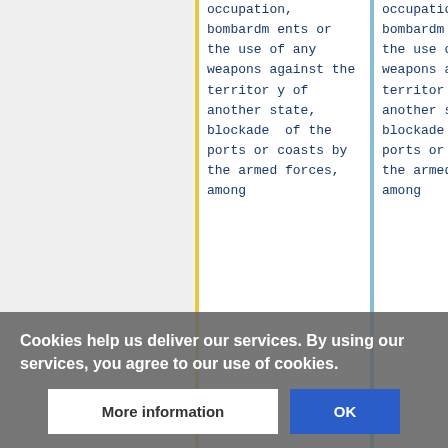|  | Column 1 | Column 2 |
| --- | --- | --- |
|  | occupation, bombardments or the use of any weapons against the territory of another state, blockade of the ports or coasts by the armed forces, among | occupation, bombardments or the use of any weapons against the territory of another state, blockade of the ports or coasts by the armed forces, among |
Cookies help us deliver our services. By using our services, you agree to our use of cookies.